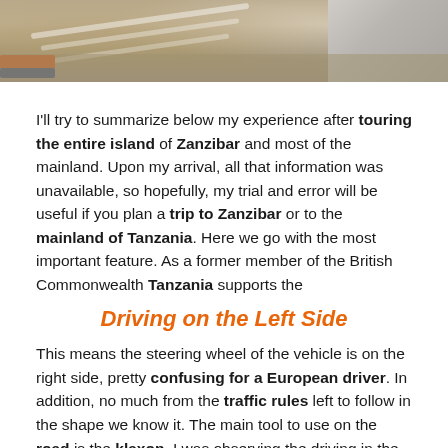[Figure (photo): Top portion of a photograph showing people in striped clothing with construction pipes/rods in the foreground and a figure in light clothing on the right.]
I'll try to summarize below my experience after touring the entire island of Zanzibar and most of the mainland. Upon my arrival, all that information was unavailable, so hopefully, my trial and error will be useful if you plan a trip to Zanzibar or to the mainland of Tanzania. Here we go with the most important feature. As a former member of the British Commonwealth Tanzania supports the
Driving on the Left Side
This means the steering wheel of the vehicle is on the right side, pretty confusing for a European driver. In addition, no much from the traffic rules left to follow in the shape we know it. The main tool to use on the road is the klaxon. I was observing the driving in the entire country and my conclusion is that the traffic lights are only recommended, the pedestrian crossings (zebra) are